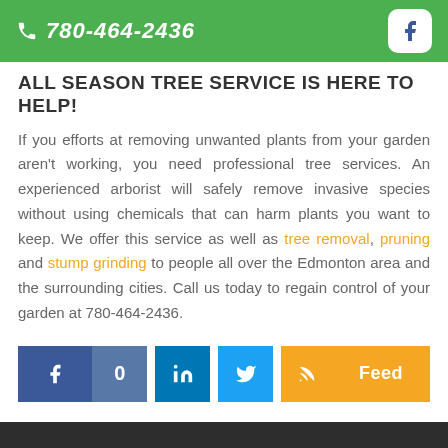780-464-2436
ALL SEASON TREE SERVICE IS HERE TO HELP!
If you efforts at removing unwanted plants from your garden aren't working, you need professional tree services. An experienced arborist will safely remove invasive species without using chemicals that can harm plants you want to keep. We offer this service as well as tree removal, pruning and stump grinding to people all over the Edmonton area and the surrounding cities. Call us today to regain control of your garden at 780-464-2436.
[Figure (infographic): Social media share buttons: Facebook (with count 0), LinkedIn, Twitter, RSS Feed]